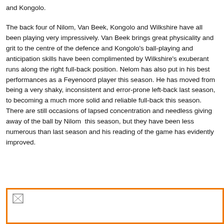and Kongolo.
The back four of Nilom, Van Beek, Kongolo and Wilkshire have all been playing very impressively. Van Beek brings great physicality and grit to the centre of the defence and Kongolo's ball-playing and anticipation skills have been complimented by Wilkshire's exuberant runs along the right full-back position. Nelom has also put in his best performances as a Feyenoord player this season. He has moved from being a very shaky, inconsistent and error-prone left-back last season, to becoming a much more solid and reliable full-back this season. There are still occasions of lapsed concentration and needless giving away of the ball by Nilom  this season, but they have been less numerous than last season and his reading of the game has evidently improved.
[Figure (photo): An image placeholder with broken image icon inside an orange-bordered box]